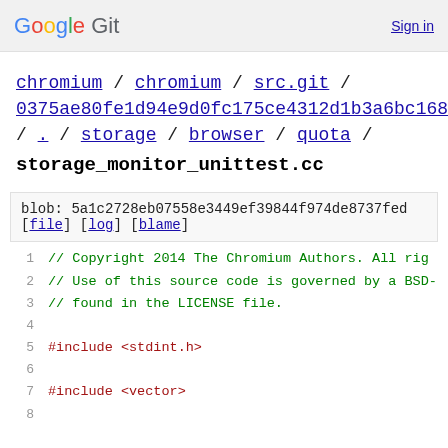Google Git   Sign in
chromium / chromium / src.git / 0375ae80fe1d94e9d0fc175ce4312d1b3a6bc168 / . / storage / browser / quota / storage_monitor_unittest.cc
blob: 5a1c2728eb07558e3449ef39844f974de8737fed [file] [log] [blame]
1  // Copyright 2014 The Chromium Authors. All rig
2  // Use of this source code is governed by a BSD-
3  // found in the LICENSE file.
4
5  #include <stdint.h>
6
7  #include <vector>
8